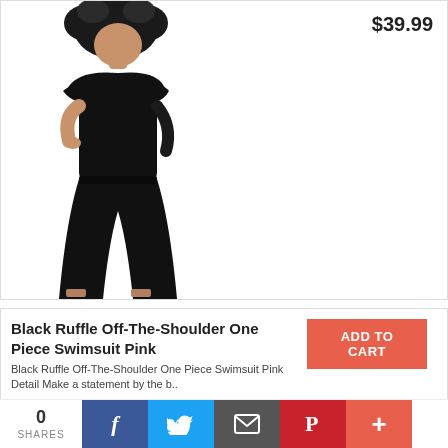[Figure (photo): A woman wearing a black ruffle off-the-shoulder jumpsuit/one-piece outfit, full-length, standing against a white background.]
$39.99
Black Ruffle Off-The-Shoulder One Piece Swimsuit Pink
ADD TO CART
Add to Wish List
Add to Compare
Black Ruffle Off-The-Shoulder One Piece Swimsuit Pink Detail Make a statement by the b..
0 SHARES
f
Twitter
Email
Pinterest
+